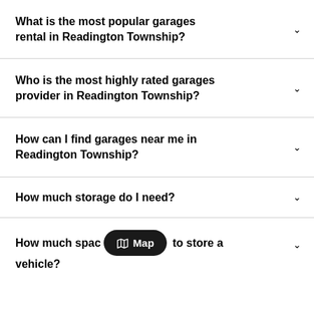What is the most popular garages rental in Readington Township?
Who is the most highly rated garages provider in Readington Township?
How can I find garages near me in Readington Township?
How much storage do I need?
How much space do I need to store a vehicle?